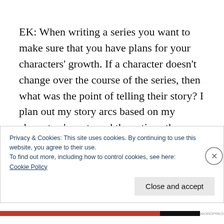EK: When writing a series you want to make sure that you have plans for your characters' growth. If a character doesn't change over the course of the series, then what was the point of telling their story? I plan out my story arcs based on my characters' wants and the actions they take in every book. Every action leads to consequences, even if I don't reveal the effect
Privacy & Cookies: This site uses cookies. By continuing to use this website, you agree to their use.
To find out more, including how to control cookies, see here:
Cookie Policy
Close and accept